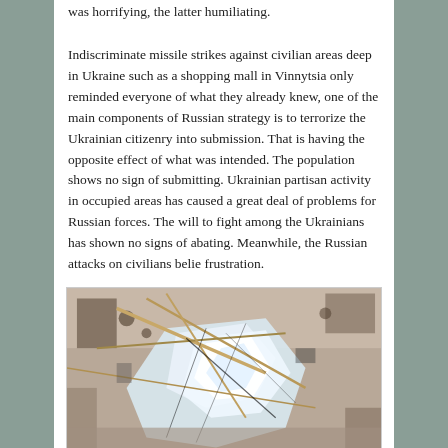was horrifying, the latter humiliating.
Indiscriminate missile strikes against civilian areas deep in Ukraine such as a shopping mall in Vinnytsia only reminded everyone of what they already knew, one of the main components of Russian strategy is to terrorize the Ukrainian citizenry into submission. That is having the opposite effect of what was intended. The population shows no sign of submitting. Ukrainian partisan activity in occupied areas has caused a great deal of problems for Russian forces. The will to fight among the Ukrainians has shown no signs of abating. Meanwhile, the Russian attacks on civilians belie frustration.
[Figure (photo): A photograph showing damaged interior with shattered reflective material and debris, appearing to be destruction from a missile or explosion strike.]